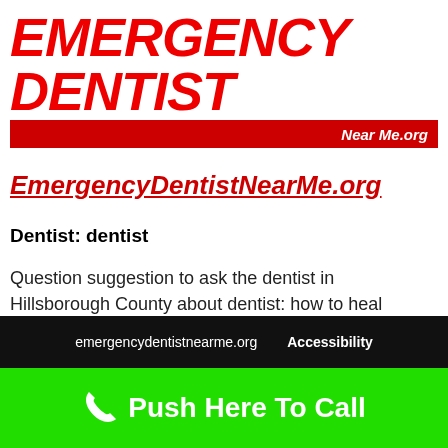EMERGENCY DENTIST
Near Me.org
EmergencyDentistNearMe.org
Dentist: dentist
Question suggestion to ask the dentist in Hillsborough County about dentist: how to heal cavities naturally without going to the dentist?
emergencydentistnearme.org   Accessibility
Push Here To Call